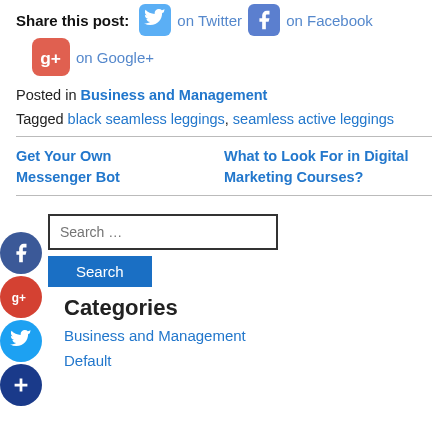Share this post: on Twitter on Facebook on Google+
Posted in Business and Management
Tagged black seamless leggings, seamless active leggings
Get Your Own Messenger Bot
What to Look For in Digital Marketing Courses?
Search …
Search
Categories
Business and Management
Default